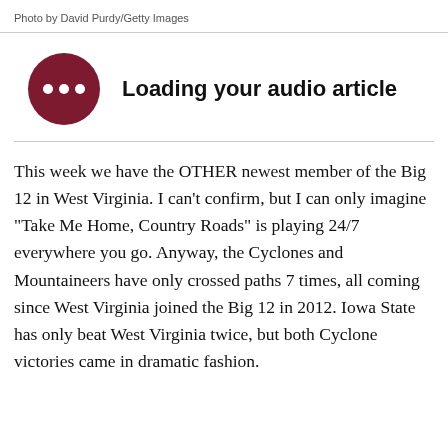Photo by David Purdy/Getty Images
[Figure (other): Dark red circular audio player button with three white dots, indicating loading state, next to text 'Loading your audio article']
This week we have the OTHER newest member of the Big 12 in West Virginia. I can’t confirm, but I can only imagine “Take Me Home, Country Roads” is playing 24/7 everywhere you go. Anyway, the Cyclones and Mountaineers have only crossed paths 7 times, all coming since West Virginia joined the Big 12 in 2012. Iowa State has only beat West Virginia twice, but both Cyclone victories came in dramatic fashion.